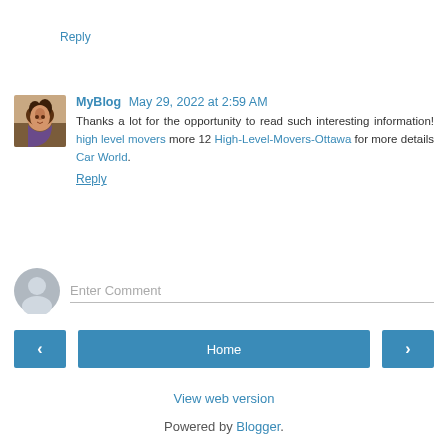Reply
MyBlog May 29, 2022 at 2:59 AM
Thanks a lot for the opportunity to read such interesting information! high level movers more 12 High-Level-Movers-Ottawa for more details Car World.
Reply
Enter Comment
< Home >
View web version
Powered by Blogger.